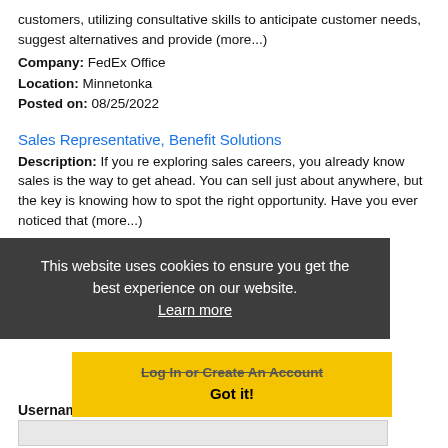customers, utilizing consultative skills to anticipate customer needs, suggest alternatives and provide (more...)
Company: FedEx Office
Location: Minnetonka
Posted on: 08/25/2022
Sales Representative, Benefit Solutions
Description: If you re exploring sales careers, you already know sales is the way to get ahead. You can sell just about anywhere, but the key is knowing how to spot the right opportunity. Have you ever noticed that (more...)
Company: PLATINUM SUPPLEMENTAL INSURANCE
Location: Minnetonka
Posted on: 08/25/2022
This website uses cookies to ensure you get the best experience on our website. Learn more
Loading more jobs.
Log In or Create An Account
Got it!
Username: